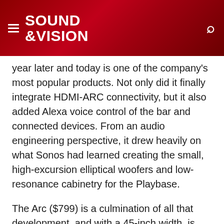SOUND &VISION
year later and today is one of the company's most popular products. Not only did it finally integrate HDMI-ARC connectivity, but it also added Alexa voice control of the bar and connected devices. From an audio engineering perspective, it drew heavily on what Sonos had learned creating the small, high-excursion elliptical woofers and low-resonance cabinetry for the Playbase.
The Arc ($799) is a culmination of all that development, and with a 45-inch width, is almost 10 inches wider than the Playbar to better mate with today's larger 55- and 65-inch TVs. But that extra width is also there to accommodate more drivers that, along with some sophisticated processing, are